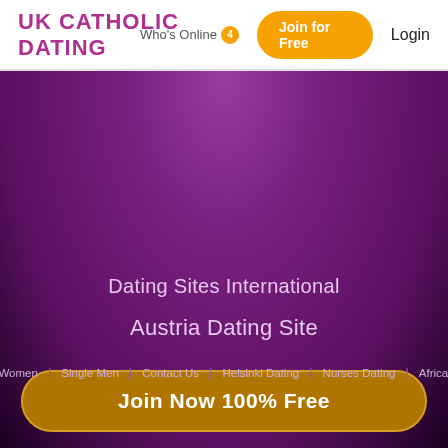UK CATHOLIC DATING | Who's Online 4 | Join for Free | Login
[Figure (screenshot): Purple gradient background for UK Catholic Dating website]
Join Now 100% Free
Dating Sites International
Austria Dating Site
Single Women | Single Men | Contact Us | Helsinki Dating | Nurses Dating | Africa Dating